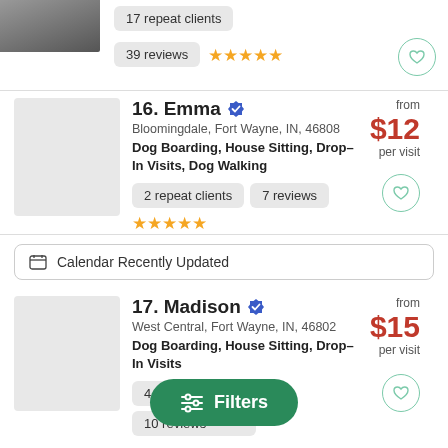17 repeat clients
39 reviews ★★★★★
16. Emma — Bloomingdale, Fort Wayne, IN, 46808 — Dog Boarding, House Sitting, Drop-In Visits, Dog Walking — from $12 per visit
2 repeat clients
7 reviews ★★★★★
Calendar Recently Updated
17. Madison — West Central, Fort Wayne, IN, 46802 — Dog Boarding, House Sitting, Drop-In Visits — from $15 per visit
4 repeat clients
10 reviews
Filters